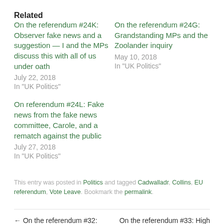Related
On the referendum #24K: Observer fake news and a suggestion — I and the MPs discuss this with all of us under oath
July 22, 2018
In "UK Politics"
On the referendum #24G: Grandstanding MPs and the Zoolander inquiry
May 10, 2018
In "UK Politics"
On referendum #24L: Fake news from the fake news committee, Carole, and a rematch against the public
July 27, 2018
In "UK Politics"
This entry was posted in Politics and tagged Cadwalladr, Collins, EU referendum, Vote Leave. Bookmark the permalink.
← On the referendum #32: Science/productivity — a) small
On the referendum #33: High performance government, 'cognitive